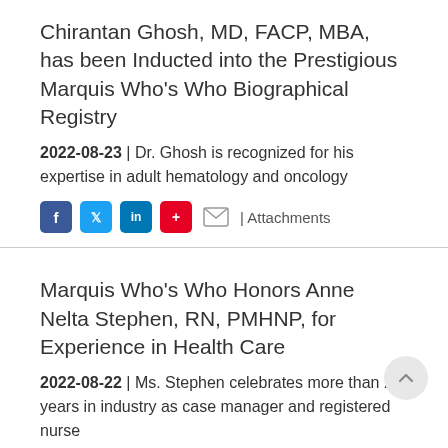Chirantan Ghosh, MD, FACP, MBA, has been Inducted into the Prestigious Marquis Who's Who Biographical Registry
2022-08-23 | Dr. Ghosh is recognized for his expertise in adult hematology and oncology
[Figure (infographic): Social share icons: Facebook (blue), Twitter (light blue), LinkedIn (blue), Pinterest (red), Email (envelope outline), and text '| Attachments']
Marquis Who's Who Honors Anne Nelta Stephen, RN, PMHNP, for Experience in Health Care
2022-08-22 | Ms. Stephen celebrates more than 2 years in industry as case manager and registered nurse for Sunshine Health